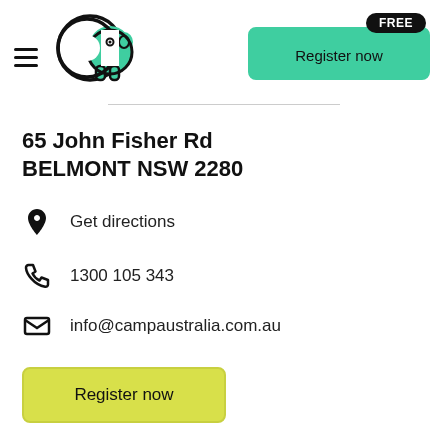[Figure (logo): Camp Australia logo - a stylized 'Ca' with a white C and teal elephant-like shape, black outline]
Register now
65 John Fisher Rd
BELMONT NSW 2280
Get directions
1300 105 343
info@campaustralia.com.au
Register now